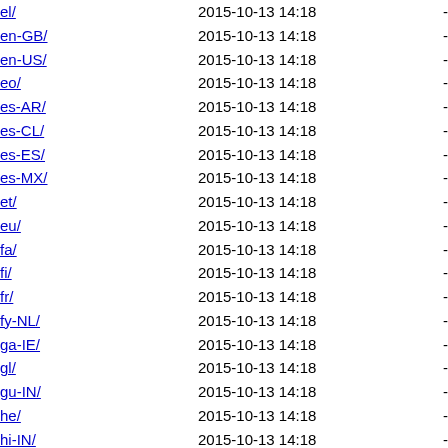| Name | Last modified | Size |
| --- | --- | --- |
| el/ | 2015-10-13 14:18 | - |
| en-GB/ | 2015-10-13 14:18 | - |
| en-US/ | 2015-10-13 14:18 | - |
| eo/ | 2015-10-13 14:18 | - |
| es-AR/ | 2015-10-13 14:18 | - |
| es-CL/ | 2015-10-13 14:18 | - |
| es-ES/ | 2015-10-13 14:18 | - |
| es-MX/ | 2015-10-13 14:18 | - |
| et/ | 2015-10-13 14:18 | - |
| eu/ | 2015-10-13 14:18 | - |
| fa/ | 2015-10-13 14:18 | - |
| fi/ | 2015-10-13 14:18 | - |
| fr/ | 2015-10-13 14:18 | - |
| fy-NL/ | 2015-10-13 14:18 | - |
| ga-IE/ | 2015-10-13 14:18 | - |
| gl/ | 2015-10-13 14:18 | - |
| gu-IN/ | 2015-10-13 14:18 | - |
| he/ | 2015-10-13 14:18 | - |
| hi-IN/ | 2015-10-13 14:18 | - |
| hr/ | 2015-10-13 14:18 | - |
| hu/ | 2015-10-13 14:18 | - |